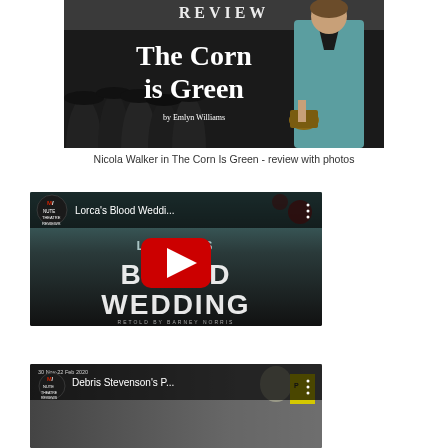[Figure (photo): Promotional image for 'The Corn Is Green' showing 'REVIEW' text at top, large title 'The Corn is Green' in white serif font, subtitle 'by Emlyn Williams', crowd of people in dark coats on left, woman in teal jacket on right holding a basket]
Nicola Walker in The Corn Is Green - review with photos
[Figure (screenshot): YouTube video thumbnail for 'Lorca's Blood Weddi...' from Minute Theatre Reviews channel. Shows Blood Wedding title text, dark teal background with the text 'BLOOD WEDDING' in large letters, YouTube play button in center]
[Figure (screenshot): YouTube video thumbnail for 'Debris Stevenson's P...' from Minute Theatre Reviews channel, partially visible at bottom of page. Date shown: 30 Nov-22 Feb 2020]